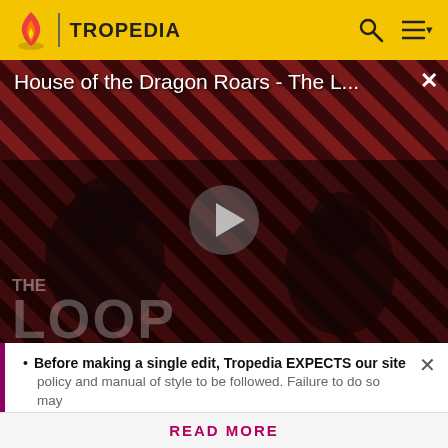TROPEDIA
[Figure (screenshot): Video player showing 'House of the Dragon Roars - The L...' with a play button in the center, diagonal red/dark striped background with two character silhouettes, 'THE LOOP' text watermark, and NaN:NaN timer display]
not making the cast page until long after their introduction. Only the first three are even on the
Before making a single edit, Tropedia EXPECTS our site policy and manual of style to be followed. Failure to do so may
READ MORE